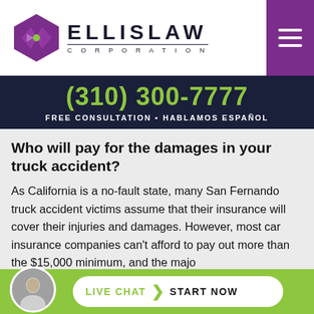[Figure (logo): Ellis Law Corporation logo with purple diamond/arrow icon and bold ELLISLAW text with CORPORATION subtitle]
(310) 300-7777
FREE CONSULTATION ▪ HABLAMOS ESPAÑOL
Who will pay for the damages in your truck accident?
As California is a no-fault state, many San Fernando truck accident victims assume that their insurance will cover their injuries and damages. However, most car insurance companies can't afford to pay out more than the $15,000 minimum, and the majo...tru...ng
LIVE CHAT ❯ START NOW